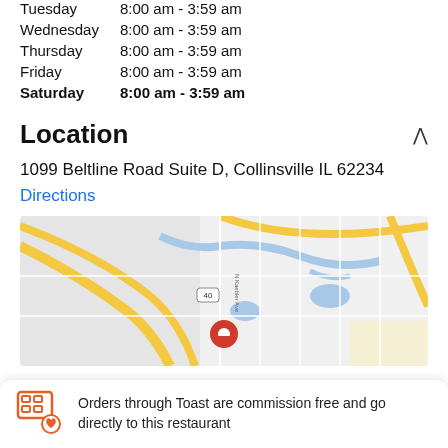Tuesday   8:00 am - 3:59 am
Wednesday 8:00 am - 3:59 am
Thursday  8:00 am - 3:59 am
Friday    8:00 am - 3:59 am
Saturday  8:00 am - 3:59 am
Location
1099 Beltline Road Suite D, Collinsville IL 62234
Directions
[Figure (map): Google Maps view showing location near Beltline Road, Collinsville IL with red pin marker]
Orders through Toast are commission free and go directly to this restaurant